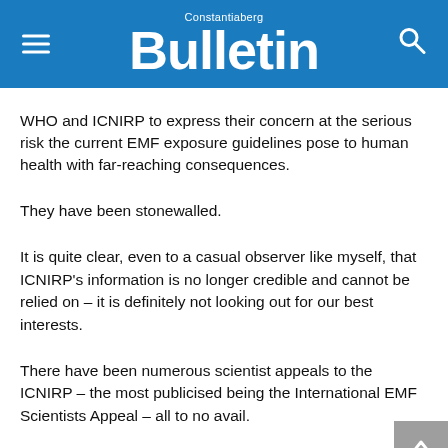Constantiaberg Bulletin
WHO and ICNIRP to express their concern at the serious risk the current EMF exposure guidelines pose to human health with far-reaching consequences.
They have been stonewalled.
It is quite clear, even to a casual observer like myself, that ICNIRP's information is no longer credible and cannot be relied on – it is definitely not looking out for our best interests.
There have been numerous scientist appeals to the ICNIRP – the most publicised being the International EMF Scientists Appeal – all to no avail.
These conflicts of interest are documented in the following